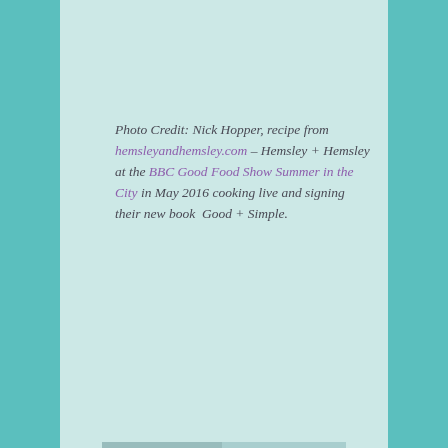Photo Credit: Nick Hopper, recipe from hemsleyandhemsley.com – Hemsley + Hemsley at the BBC Good Food Show Summer in the City in May 2016 cooking live and signing their new book  Good + Simple.
[Figure (photo): Portrait photo of Monica Costa, a woman with dark hair and sunglasses on her head, wearing a floral top and holding a red jacket, smiling]
Monica Costa
Monica Costa founded London Mums in September